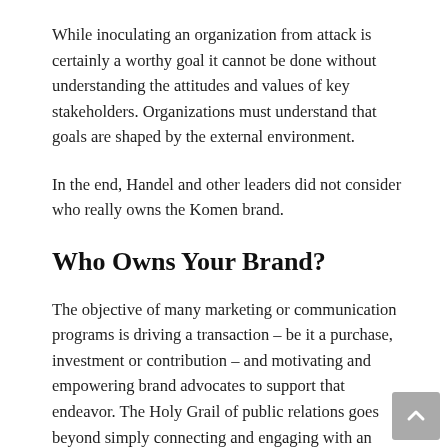While inoculating an organization from attack is certainly a worthy goal it cannot be done without understanding the attitudes and values of key stakeholders. Organizations must understand that goals are shaped by the external environment.
In the end, Handel and other leaders did not consider who really owns the Komen brand.
Who Owns Your Brand?
The objective of many marketing or communication programs is driving a transaction – be it a purchase, investment or contribution – and motivating and empowering brand advocates to support that endeavor. The Holy Grail of public relations goes beyond simply connecting and engaging with an audience. It goes even further than changing behavior or perceptions in support of your brand. The Holy Grail is unleashing an army of third-party advocates to influence others on your behalf.